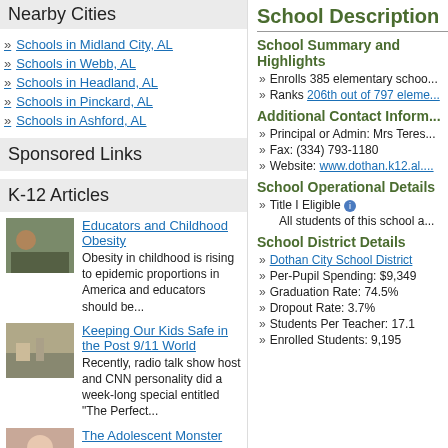Nearby Cities
Schools in Midland City, AL
Schools in Webb, AL
Schools in Headland, AL
Schools in Pinckard, AL
Schools in Ashford, AL
Sponsored Links
K-12 Articles
Educators and Childhood Obesity — Obesity in childhood is rising to epidemic proportions in America and educators should be...
Keeping Our Kids Safe in the Post 9/11 World — Recently, radio talk show host and CNN personality did a week-long special entitled "The Perfect...
The Adolescent Monster — "What happened to my sweet little baby?" Every parent has or will ask that sometime during the...
School Description
School Summary and Highlights
Enrolls 385 elementary schoo...
Ranks 206th out of 797 eleme...
Additional Contact Information
Principal or Admin: Mrs Teres...
Fax: (334) 793-1180
Website: www.dothan.k12.al....
School Operational Details
Title I Eligible
All students of this school a...
School District Details
Dothan City School District
Per-Pupil Spending: $9,349
Graduation Rate: 74.5%
Dropout Rate: 3.7%
Students Per Teacher: 17.1
Enrolled Students: 9,195